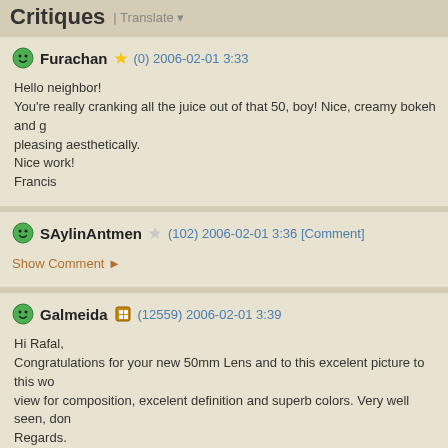Critiques | Translate
Furachan ★ (0) 2006-02-01 3:33
Hello neighbor!
You're really cranking all the juice out of that 50, boy! Nice, creamy bokeh and g...
pleasing aesthetically.
Nice work!
Francis
SAylinAntmen ★ (102) 2006-02-01 3:36 [Comment]
Show Comment ▶
Galmeida 🏅 (12559) 2006-02-01 3:39
Hi Rafal,
Congratulations for your new 50mm Lens and to this excelent picture to this wo...
view for composition, excelent definition and superb colors. Very well seen, don...
Regards.

Fernando
tianze ★ (5674) 2006-02-01 3:39